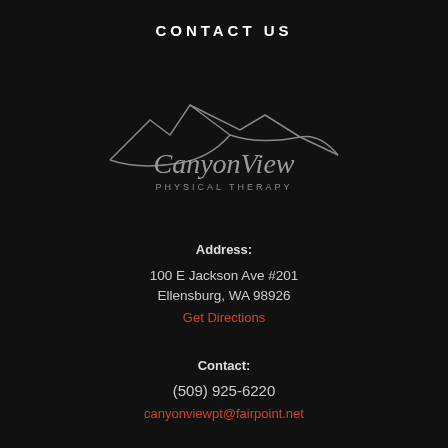CONTACT US
[Figure (logo): Canyon View Physical Therapy logo with mountain line art above the text]
Address:
100 E Jackson Ave #201
Ellensburg, WA 98926
Get Directions
Contact:
(509) 925-6220
canyonviewpt@fairpoint.net